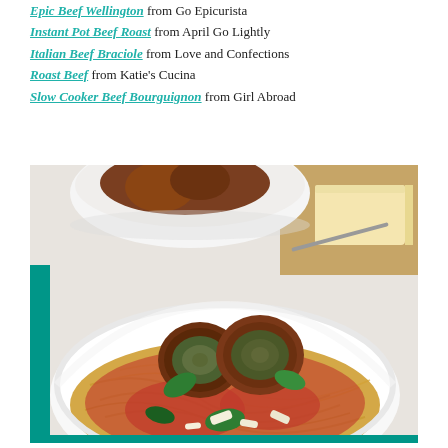Epic Beef Wellington from Go Epicurista
Instant Pot Beef Roast from April Go Lightly
Italian Beef Braciole from Love and Confections
Roast Beef from Katie's Cucina
Slow Cooker Beef Bourguignon from Girl Abroad
[Figure (photo): A white bowl of Italian Beef Braciole sliced open to reveal herb stuffing, served over spaghetti with tomato sauce, basil leaves and shaved parmesan, with another bowl and cheese block visible in background.]